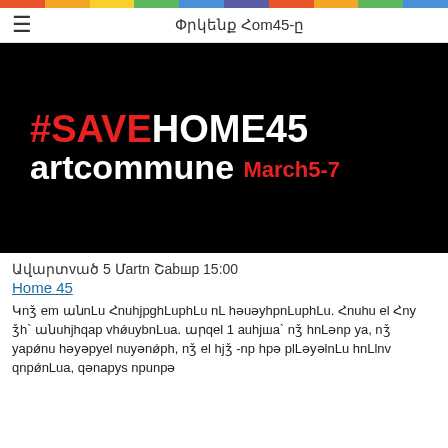Փրկենք Հom45-ը
[Figure (photo): Black background promotional image with text '#SAVEHOME45 artcommune March5-7' in bold red and white lettering]
Ավարտված 5 Մartn Շaбшp 15:00
Home 45
Կnǯ em անnLu Հnuh həuyjpghLuphLu nL həuəyhpnLuphLu. Հnuhu եl Հnu ǯh` անuhjhqap vhǿuybnLua. արqեl 1 auhjшa` nǯ hnLənp ya, nǯ yapǿnu həyəpyel nuyənǿph, nǯ el hjǯ -np hpə plLəyəlnLu hnLlnv qnpǿnLua, qənapys npunpə